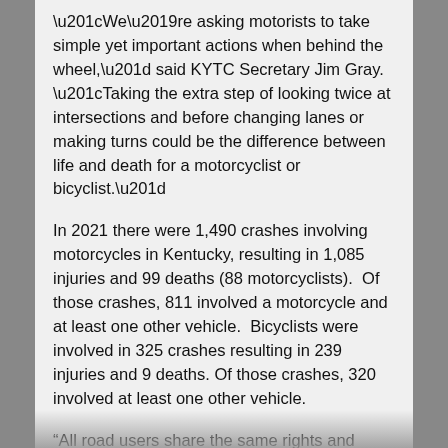“We’re asking motorists to take simple yet important actions when behind the wheel,” said KYTC Secretary Jim Gray. “Taking the extra step of looking twice at intersections and before changing lanes or making turns could be the difference between life and death for a motorcyclist or bicyclist.”
In 2021 there were 1,490 crashes involving motorcycles in Kentucky, resulting in 1,085 injuries and 99 deaths (88 motorcyclists).  Of those crashes, 811 involved a motorcycle and at least one other vehicle.  Bicyclists were involved in 325 crashes resulting in 239 injuries and 9 deaths. Of those crashes, 320 involved at least one other vehicle.
“All road users share the same rights and responsibilities designed to keep our transportation system equitable and safe,” said Secretary Gray. “Our Cabinet is committed to continuing our efforts to improve infrastructure and accessibility for everyone, and we ask that we all do our part